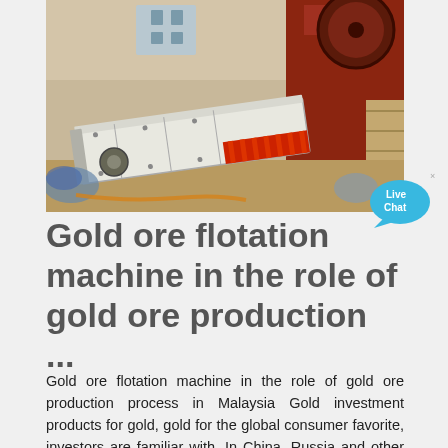[Figure (photo): Industrial mining/crushing equipment photo: a white elongated vibratory feeder or conveyor with red ribbed sections, placed on the ground in a factory setting with a large red crushing machine in the background.]
Gold ore flotation machine in the role of gold ore production ...
Gold ore flotation machine in the role of gold ore production process in Malaysia Gold investment products for gold, gold for the global consumer favorite, investors are familiar with. In China, Russia and other countries to buy gold holdings of collective holdings against the backdrop of global gold consumption and investment demand growing, which